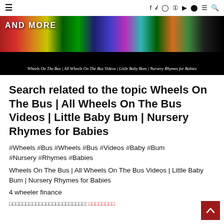≡  f  y  𝓲  𝓹  ▶  👻  ≡  🔍
[Figure (screenshot): Video thumbnail showing colorful toy cars with text 'AND MORE' and 'Wheels On The Bus | All Wheels On The Bus Videos | Little Baby Bum | Nursery Rhymes for Babies']
Search related to the topic Wheels On The Bus | All Wheels On The Bus Videos | Little Baby Bum | Nursery Rhymes for Babies
#Wheels #Bus #Wheels #Bus #Videos #Baby #Bum #Nursery #Rhymes #Babies
Wheels On The Bus | All Wheels On The Bus Videos | Little Baby Bum | Nursery Rhymes for Babies
4 wheeler finance
□□□□□□□□□□□□□□□□□□□□□□□: □□□□□□□□